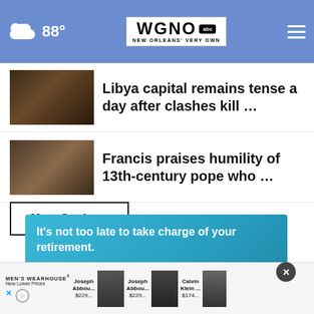WGNO ABC New Orleans' Very Own — 88°
Libya capital remains tense a day after clashes kill …
Francis praises humility of 13th-century pope who …
More Stories ›
[Figure (screenshot): Retirement ad: It's not too late to take charge of your retirement. Go to AceYourRetirement.org →]
[Figure (screenshot): Men's Wearhouse ad with Joseph Abboud and Calvin Klein suits starting at $229 and $174]